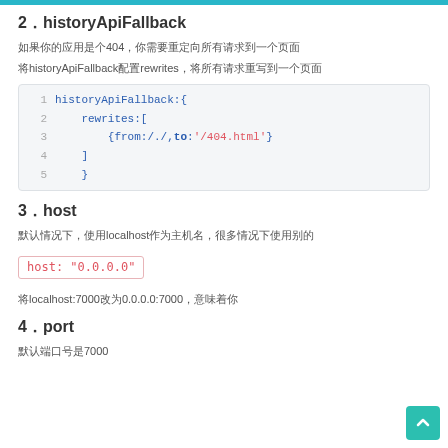2．historyApiFallback
如果你的应用是个404，你需要重定向所有请求到一个页面
将historyApiFallback配置rewrites，将所有请求重写到一个页面
historyApiFallback:{
    rewrites:[
        {from:/./,to:'/404.html'}
    ]
}
3．host
默认情况下，使用localhost作为主机名，很多情况下使用别的
host: "0.0.0.0"
将localhost:7000改为0.0.0.0:7000，意味着你
4．port
默认端口号是7000